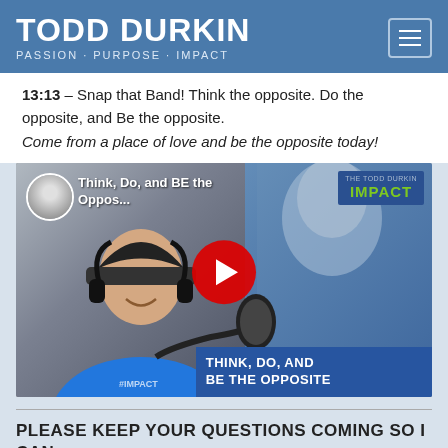TODD DURKIN
PASSION · PURPOSE · IMPACT
13:13 – Snap that Band! Think the opposite. Do the opposite, and Be the opposite.
Come from a place of love and be the opposite today!
[Figure (screenshot): YouTube video thumbnail for 'Think, Do, and BE the Oppos...' featuring Todd Durkin podcast host in blue shirt with headphones at microphone, woman in background, red YouTube play button, blue banner reading THINK, DO, AND BE THE OPPOSITE, Todd Durkin IMPACT logo top right]
PLEASE KEEP YOUR QUESTIONS COMING SO I CAN